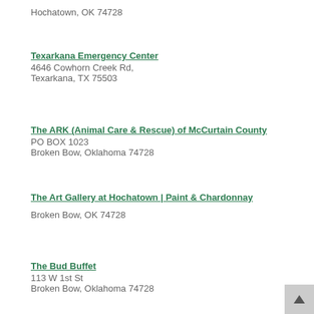Hochatown, OK 74728
Texarkana Emergency Center
4646 Cowhorn Creek Rd,
Texarkana, TX 75503
The ARK (Animal Care & Rescue) of McCurtain County
PO BOX 1023
Broken Bow, Oklahoma 74728
The Art Gallery at Hochatown | Paint & Chardonnay
Broken Bow, OK 74728
The Bud Buffet
113 W 1st St
Broken Bow, Oklahoma 74728